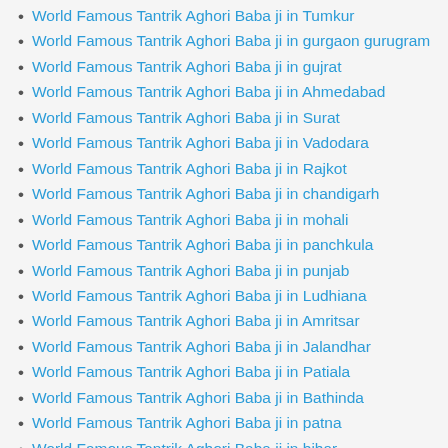World Famous Tantrik Aghori Baba ji in Tumkur
World Famous Tantrik Aghori Baba ji in gurgaon gurugram
World Famous Tantrik Aghori Baba ji in gujrat
World Famous Tantrik Aghori Baba ji in Ahmedabad
World Famous Tantrik Aghori Baba ji in Surat
World Famous Tantrik Aghori Baba ji in Vadodara
World Famous Tantrik Aghori Baba ji in Rajkot
World Famous Tantrik Aghori Baba ji in chandigarh
World Famous Tantrik Aghori Baba ji in mohali
World Famous Tantrik Aghori Baba ji in panchkula
World Famous Tantrik Aghori Baba ji in punjab
World Famous Tantrik Aghori Baba ji in Ludhiana
World Famous Tantrik Aghori Baba ji in Amritsar
World Famous Tantrik Aghori Baba ji in Jalandhar
World Famous Tantrik Aghori Baba ji in Patiala
World Famous Tantrik Aghori Baba ji in Bathinda
World Famous Tantrik Aghori Baba ji in patna
World Famous Tantrik Aghori Baba ji in bihar
World Famous Tantrik Aghori Baba ji in itanagar
World Famous Tantrik Aghori Baba ji in Chattisgarh
World Famous Tantrik Aghori Baba ji in jharkhand
World Famous Tantrik Aghori Baba ji in Lucknow